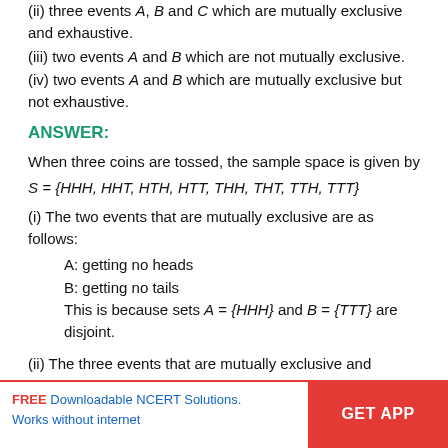(ii) three events A, B and C which are mutually exclusive and exhaustive.
(iii) two events A and B which are not mutually exclusive.
(iv) two events A and B which are mutually exclusive but not exhaustive.
ANSWER:
When three coins are tossed, the sample space is given by
(i) The two events that are mutually exclusive are as follows:
A: getting no heads
B: getting no tails
This is because sets A = {HHH} and B = {TTT} are disjoint.
(ii) The three events that are mutually exclusive and...
FREE Downloadable NCERT Solutions. Works without internet | GET APP